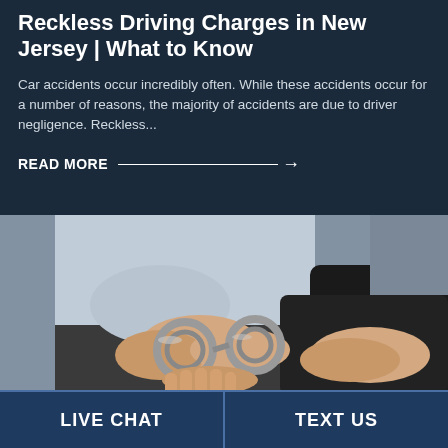Reckless Driving Charges in New Jersey | What to Know
Car accidents occur incredibly often. While these accidents occur for a number of reasons, the majority of accidents are due to driver negligence. Reckless...
READ MORE →
[Figure (photo): Close-up photo of a person being handcuffed from behind — one person in a gray sweater has handcuffs applied by another person in a dark sleeve]
LIVE CHAT   TEXT US